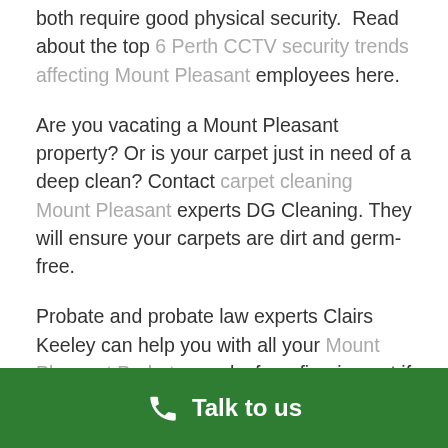both require good physical security.  Read about the top 6 Perth CCTV security trends affecting Mount Pleasant employees here.
Are you vacating a Mount Pleasant property? Or is your carpet just in need of a deep clean? Contact carpet cleaning Mount Pleasant experts DG Cleaning. They will ensure your carpets are dirt and germ-free.
Probate and probate law experts Clairs Keeley can help you with all your Mount Pleasant Probate needs, from figuring out if you need one to help you apply and get the courts grants.
And if you feel like your in hot water (or cold) with your
Talk to us